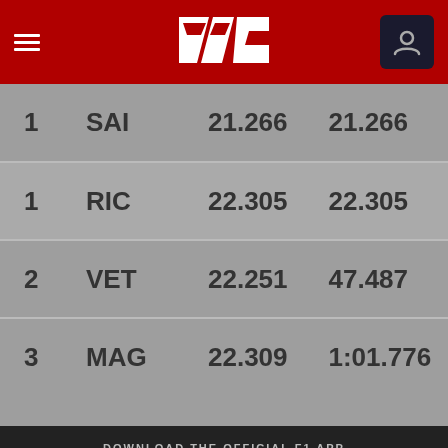F1 Official App Header with navigation
| Lap | Driver | Time | Total |
| --- | --- | --- | --- |
| 1 | SAI | 21.266 | 21.266 |
| 1 | RIC | 22.305 | 22.305 |
| 2 | VET | 22.251 | 47.487 |
| 3 | MAG | 22.309 | 1:01.776 |
DOWNLOAD THE OFFICIAL F1 APP
[Figure (screenshot): Google Play and App Store download buttons]
Social media icons: Facebook, Twitter, Instagram, YouTube